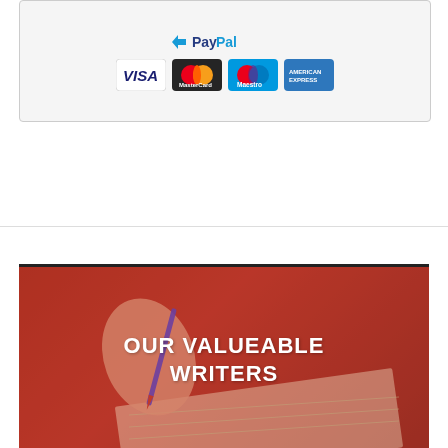[Figure (screenshot): Payment methods widget showing PayPal logo and credit card logos: VISA, MasterCard, Maestro, American Express, on a light gray rounded rectangle background.]
[Figure (photo): Dark red toned image of a hand writing with a pen on paper, overlaid with bold white text reading 'OUR VALUEABLE WRITERS'.]